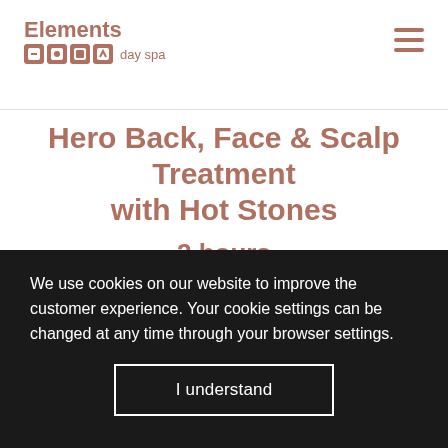Elements day spa
Hero Back, Face & Scalp Treatment with Hot Stones
2 hours
Unravel tension, instantly boost your complexion and restore inner calm with our most renowned treatment. Targeted massa...
We use cookies on our website to improve the customer experience. Your cookie settings can be changed at any time through your browser settings.
I understand